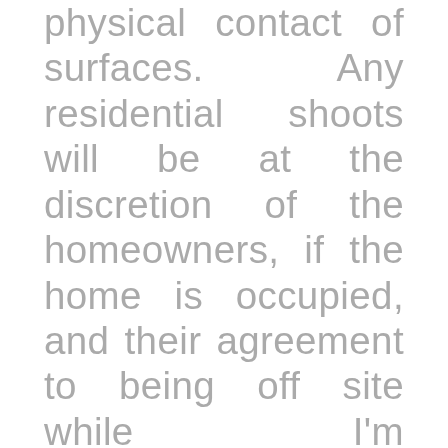physical contact of surfaces. Any residential shoots will be at the discretion of the homeowners, if the home is occupied, and their agreement to being off site while I'm photographing. Non-residential shoots will require arranging very specific shoot times as to avoid encountering others as much as possible. As I mostly work solo with little human interaction, exterior photography will continue as